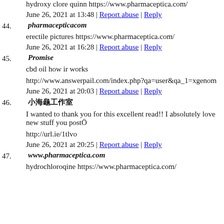hydroxy clore quinn https://www.pharmaceptica.com/
June 26, 2021 at 13:48 | Report abuse | Reply
44. pharmacepticacom
erectile pictures https://www.pharmaceptica.com/
June 26, 2021 at 16:28 | Report abuse | Reply
45. Promise
cbd oil how ir works
http://www.answerpail.com/index.php?qa=user&qa_1=xgenom
June 26, 2021 at 20:03 | Report abuse | Reply
46. 小海龟工作室
I wanted to thank you for this excellent read!! I absolutely love new stuff you postÖ
http://url.ie/1tlvo
June 26, 2021 at 20:25 | Report abuse | Reply
47. www.pharmaceptica.com
hydrochloroqine https://www.pharmaceptica.com/